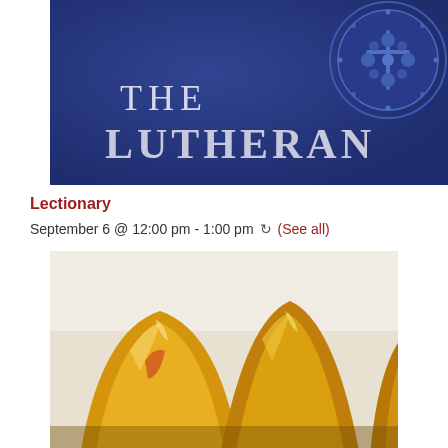[Figure (photo): Close-up of a blue embossed book cover reading 'THE LUTHERAN' with a circular embossed cross/rose medallion in the upper right corner]
Lectionary
September 6 @ 12:00 pm - 1:00 pm  ↻  (See all)
[Figure (photo): Close-up photograph of shiny gold/brass communion cups or handbells reflecting light against a white background]